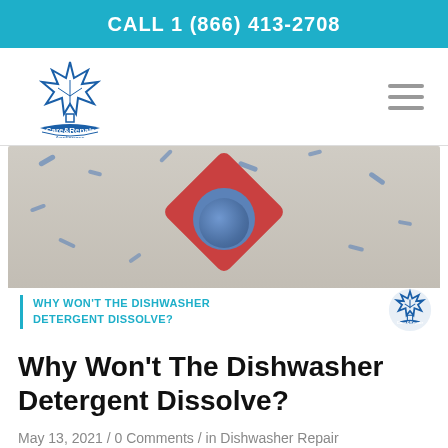CALL 1 (866) 413-2708
[Figure (logo): Care & Repair Appliances logo with maple leaf icon]
[Figure (photo): Close-up photo of a red and blue dishwasher detergent tablet on a grey surface with blue flecks, with overlay text: WHY WON'T THE DISHWASHER DETERGENT DISSOLVE?]
Why Won't The Dishwasher Detergent Dissolve?
May 13, 2021 / 0 Comments / in Dishwasher Repair / by Larysa